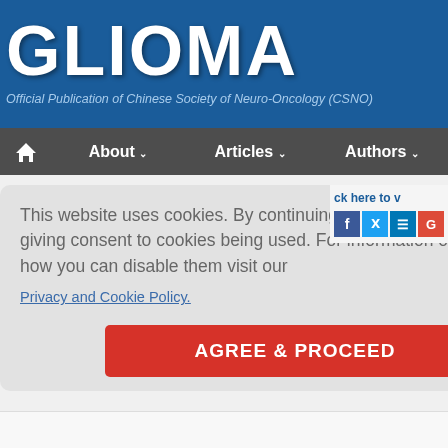GLIOMA
Official Publication of Chinese Society of Neuro-Oncology (CSNO)
Home | About ▾ | Articles ▾ | Authors ▾
This website uses cookies. By continuing to use this website you are giving consent to cookies being used. For information on cookies and how you can disable them visit our
Privacy and Cookie Policy.
AGREE & PROCEED